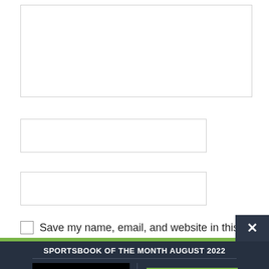[Figure (screenshot): Web form with a textarea (empty) at the top, two text input fields below it, a checkbox with label 'Save my name, email, and website in this']
Save my name, email, and website in this
[Figure (infographic): Dark promotional banner: 'SPORTSBOOK OF THE MONTH AUGUST 2022' with BetOnline logo on black background, a green 'Visit Site' button, '$3000 BONUS' text and a 'Read Review' link]